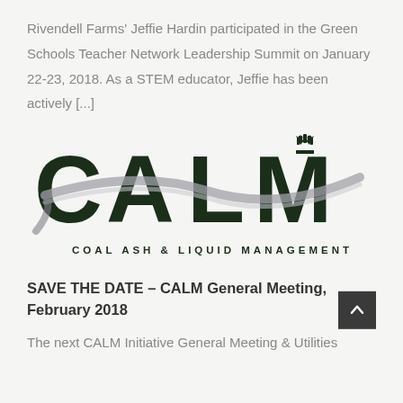Rivendell Farms' Jeffie Hardin participated in the Green Schools Teacher Network Leadership Summit on January 22-23, 2018. As a STEM educator, Jeffie has been actively [...]
[Figure (logo): CALM – Coal Ash & Liquid Management logo. Large dark green stylized letters C, A, L, M with a silver swoosh ribbon across them and a crown above the M. Below in spaced capitals: COAL ASH & LIQUID MANAGEMENT]
SAVE THE DATE – CALM General Meeting, February 2018
The next CALM Initiative General Meeting & Utilities